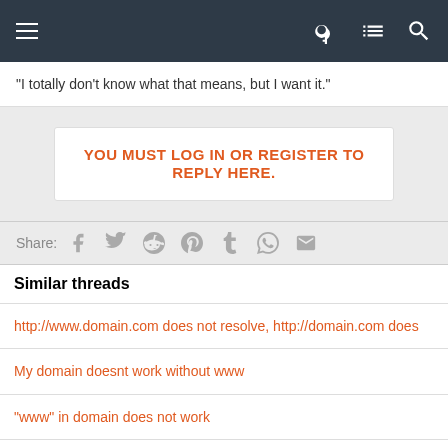Navigation bar with menu, key, list, and search icons
"I totally don't know what that means, but I want it."
YOU MUST LOG IN OR REGISTER TO REPLY HERE.
Share:
Similar threads
http://www.domain.com does not resolve, http://domain.com does
My domain doesnt work without www
"www" in domain does not work
Child domain problem??? www.***.com doesn't work, ***.com does